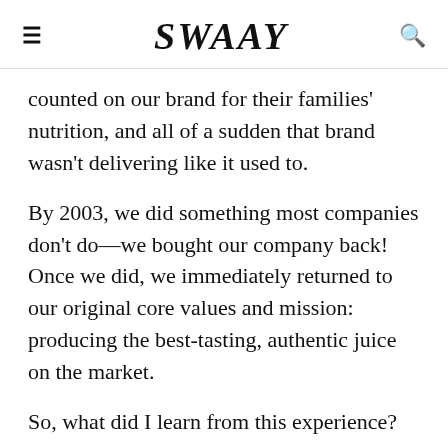≡  SWAAY  🔍
counted on our brand for their families' nutrition, and all of a sudden that brand wasn't delivering like it used to.
By 2003, we did something most companies don't do—we bought our company back! Once we did, we immediately returned to our original core values and mission: producing the best-tasting, authentic juice on the market.
So, what did I learn from this experience?
Back Something From Your D...